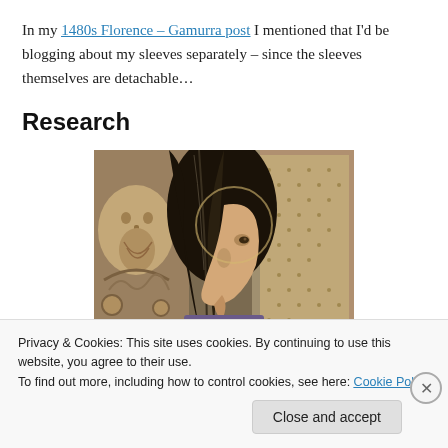In my 1480s Florence – Gamurra post I mentioned that I'd be blogging about my sleeves separately – since the sleeves themselves are detachable…
Research
[Figure (photo): Close-up detail of a Renaissance painting showing a woman's face in profile with dark braided hair, against a decorative background with a carved face motif.]
Privacy & Cookies: This site uses cookies. By continuing to use this website, you agree to their use.
To find out more, including how to control cookies, see here: Cookie Policy